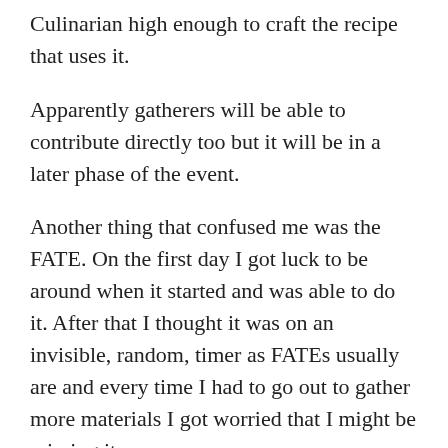Culinarian high enough to craft the recipe that uses it.
Apparently gatherers will be able to contribute directly too but it will be in a later phase of the event.
Another thing that confused me was the FATE. On the first day I got luck to be around when it started and was able to do it. After that I thought it was on an invisible, random, timer as FATEs usually are and every time I had to go out to gather more materials I got worried that I might be missing it.
Turns out there is an actual timer we can check on top of the notice board for the Ishgard Restoration. That is very helpful and I am glad